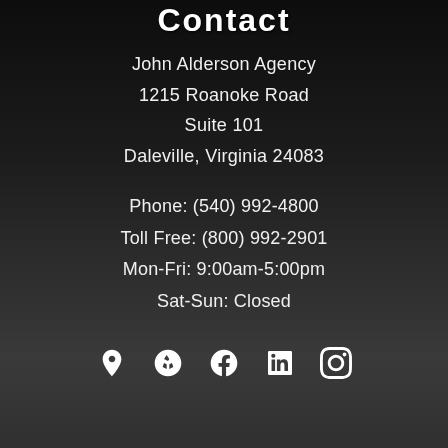Contact
John Alderson Agency
1215 Roanoke Road
Suite 101
Daleville, Virginia 24083
Phone: (540) 992-4800
Toll Free: (800) 992-2901
Mon-Fri: 9:00am-5:00pm
Sat-Sun: Closed
[Figure (infographic): Social media icons row: map pin, Yelp, Facebook, LinkedIn, Instagram]